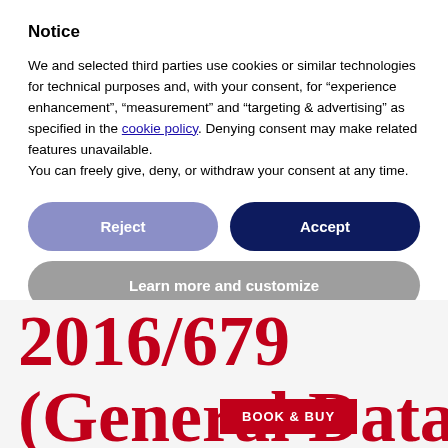Notice
We and selected third parties use cookies or similar technologies for technical purposes and, with your consent, for “experience enhancement”, “measurement” and “targeting & advertising” as specified in the cookie policy. Denying consent may make related features unavailable.
You can freely give, deny, or withdraw your consent at any time.
Reject
Accept
Learn more and customize
2016/679
(General Data
BOOK & BUY